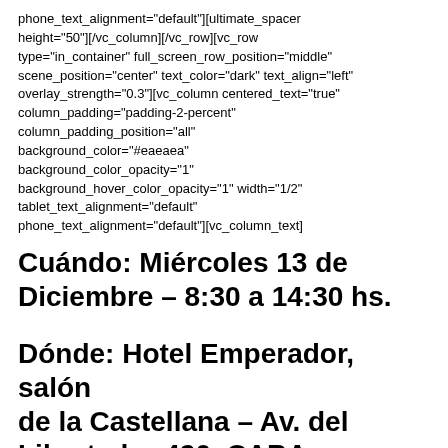phone_text_alignment="default"][ultimate_spacer height="50"][/vc_column][/vc_row][vc_row type="in_container" full_screen_row_position="middle" scene_position="center" text_color="dark" text_align="left" overlay_strength="0.3"][vc_column centered_text="true" column_padding="padding-2-percent" column_padding_position="all" background_color="#eaeaea" background_color_opacity="1" background_hover_color_opacity="1" width="1/2" tablet_text_alignment="default" phone_text_alignment="default"][vc_column_text]
Cuándo: Miércoles 13 de Diciembre – 8:30 a 14:30 hs.
Dónde: Hotel Emperador, salón de la Castellana – Av. del Libertador 420, CABA, Argentina
[/vc_column_text][ultimate_spacer height="30"]